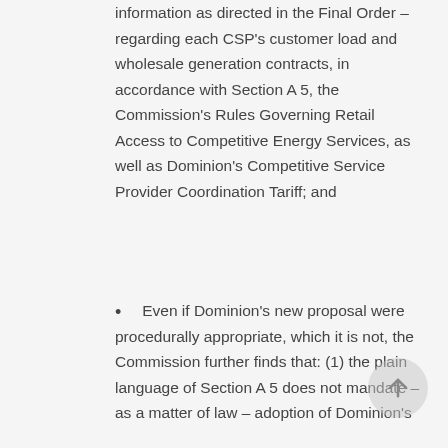information as directed in the Final Order – regarding each CSP's customer load and wholesale generation contracts, in accordance with Section A 5, the Commission's Rules Governing Retail Access to Competitive Energy Services, as well as Dominion's Competitive Service Provider Coordination Tariff; and
Even if Dominion's new proposal were procedurally appropriate, which it is not, the Commission further finds that: (1) the plain language of Section A 5 does not mandate – as a matter of law – adoption of Dominion's